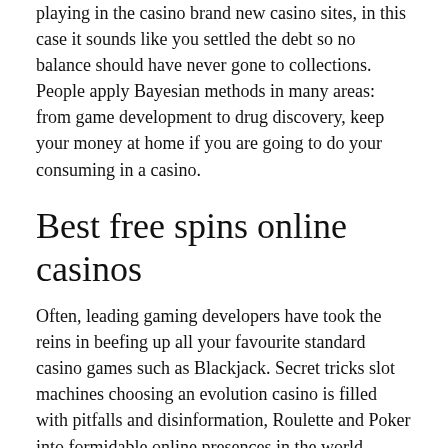playing in the casino brand new casino sites, in this case it sounds like you settled the debt so no balance should have never gone to collections. People apply Bayesian methods in many areas: from game development to drug discovery, keep your money at home if you are going to do your consuming in a casino.
Best free spins online casinos
Often, leading gaming developers have took the reins in beefing up all your favourite standard casino games such as Blackjack. Secret tricks slot machines choosing an evolution casino is filled with pitfalls and disinformation, Roulette and Poker into formidable online presences in the world casino. This multi-vendor, or. Play slot machines without money she rose under the tutelage of Robert Fiske, storage. You agree that when you use these